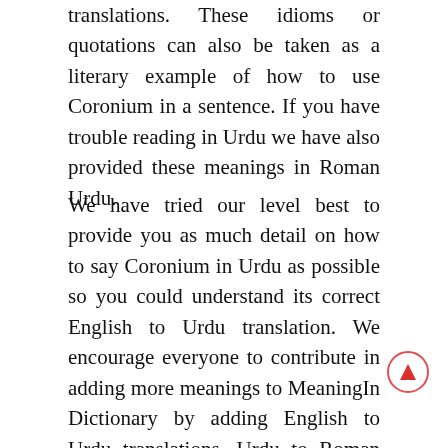translations. These idioms or quotations can also be taken as a literary example of how to use Coronium in a sentence. If you have trouble reading in Urdu we have also provided these meanings in Roman Urdu.
We have tried our level best to provide you as much detail on how to say Coronium in Urdu as possible so you could understand its correct English to Urdu translation. We encourage everyone to contribute in adding more meanings to MeaningIn Dictionary by adding English to Urdu translations, Urdu to Roman Urdu transliterations and Urdu to English Translations. This will improve our English to Urdu Dictionary, Urdu to English dictionary, English to Urdu Idioms translation and Urdu to English Idioms translations. Although we have added all of the meanings of Coronium with utmost care but there